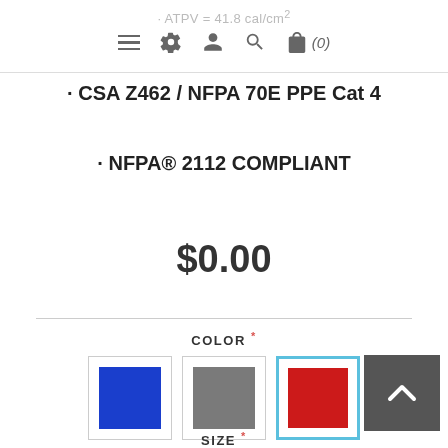· ATPV = 41.8 cal/cm² [navigation icons: hamburger, gear, user, search, bag (0)]
· CSA Z462 / NFPA 70E PPE Cat 4
· NFPA® 2112 COMPLIANT
$0.00
[Figure (infographic): Three color swatches: blue (unselected), gray (unselected), red (selected with blue border highlight). A dark gray scroll-up button on the right.]
COLOR *
SIZE *